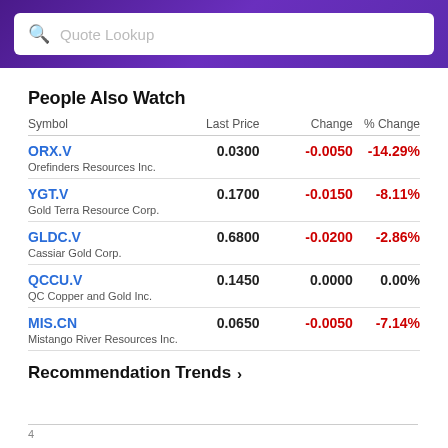Quote Lookup
People Also Watch
| Symbol | Last Price | Change | % Change |
| --- | --- | --- | --- |
| ORX.V
Orefinders Resources Inc. | 0.0300 | -0.0050 | -14.29% |
| YGT.V
Gold Terra Resource Corp. | 0.1700 | -0.0150 | -8.11% |
| GLDC.V
Cassiar Gold Corp. | 0.6800 | -0.0200 | -2.86% |
| QCCU.V
QC Copper and Gold Inc. | 0.1450 | 0.0000 | 0.00% |
| MIS.CN
Mistango River Resources Inc. | 0.0650 | -0.0050 | -7.14% |
Recommendation Trends
4